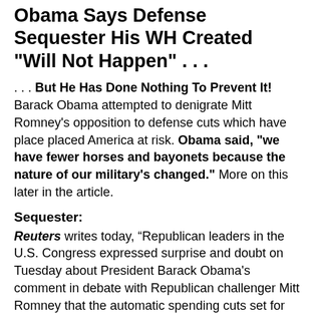Obama Says Defense Sequester His WH Created "Will Not Happen" . . .
. . . But He Has Done Nothing To Prevent It! Barack Obama attempted to denigrate Mitt Romney's opposition to defense cuts which have place placed America at risk. Obama said, "we have fewer horses and bayonets because the nature of our military's changed." More on this later in the article.
Sequester:
Reuters writes today, “Republican leaders in the U.S. Congress expressed surprise and doubt on Tuesday about President Barack Obama's comment in debate with Republican challenger Mitt Romney that the automatic spending cuts set for the new year ‘will not happen.’”
Obama said, “First of all, the sequester is not something I proposed, it’s something that Congress proposed. It will not happen.”
There are two major problems with this: first, the idea for